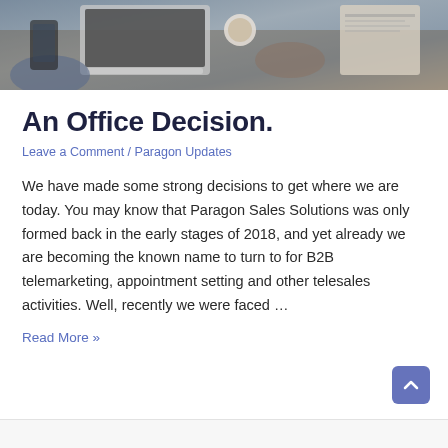[Figure (photo): Overhead view of two people at a desk with a laptop, coffee cup, clipboard, phone, and notebooks on a wooden table surface.]
An Office Decision.
Leave a Comment / Paragon Updates
We have made some strong decisions to get where we are today. You may know that Paragon Sales Solutions was only formed back in the early stages of 2018, and yet already we are becoming the known name to turn to for B2B telemarketing, appointment setting and other telesales activities. Well, recently we were faced …
Read More »